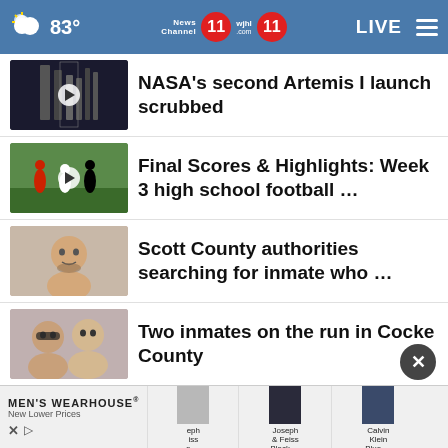83° News Channel 11 wjhl 11 LIVE
NASA's second Artemis I launch scrubbed
Final Scores & Highlights: Week 3 high school football …
Scott County authorities searching for inmate who …
Two inmates on the run in Cocke County
WATCH: Science Hill defeats West Ridge 49-7
[Figure (screenshot): MEN'S WEARHOUSE® New Lower Prices advertisement with product images of Joseph & Feiss Black and Calvin Klein Blue suits]
MEN'S WEARHOUSE® New Lower Prices — Joseph & Feiss Black … Calvin Klein Blue …